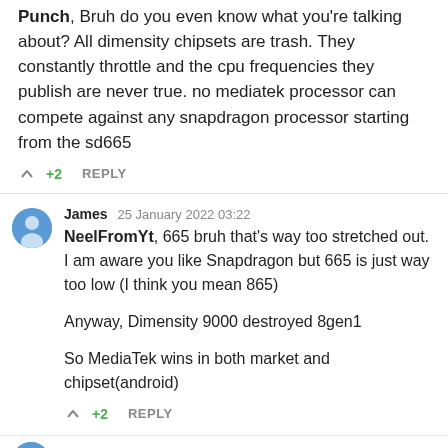Punch, Bruh do you even know what you're talking about? All dimensity chipsets are trash. They constantly throttle and the cpu frequencies they publish are never true. no mediatek processor can compete against any snapdragon processor starting from the sd665
▲ +2    REPLY
James  25 January 2022 03:22
NeelFromYt, 665 bruh that's way too stretched out. I am aware you like Snapdragon but 665 is just way too low (I think you mean 865)

Anyway, Dimensity 9000 destroyed 8gen1

So MediaTek wins in both market and chipset(android)
▲ +2    REPLY
Zero  22 February 2022 22:30